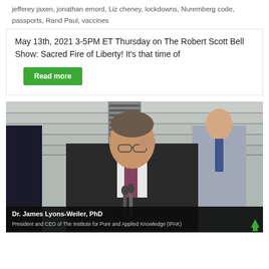jefferey jaxen, jonathan emord, Liz cheney, lockdowns, Nuremberg code, passports, Rand Paul, vaccines
May 13th, 2021 3-5PM ET Thursday on The Robert Scott Bell Show: Sacred Fire of Liberty! It's that time of
Read more
[Figure (photo): Dr. James Lyons-Weiler, PhD speaking at a podium in front of marble stairs, adjusting his glasses. Caption reads: Dr. James Lyons-Weiler, PhD — President and CEO of The Institute for Pure and Applied Knowledge (IPAK). A green upward arrow icon is visible in the bottom right corner.]